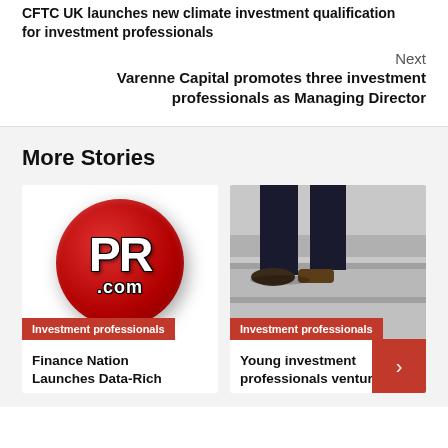CFTC UK launches new climate investment qualification for investment professionals
Next
Varenne Capital promotes three investment professionals as Managing Director
More Stories
[Figure (logo): PR.com red circle logo with white PR text and .com below]
[Figure (photo): Person walking up stone stairs, lower body view showing legs and shoes]
Investment professionals
Investment professionals
Finance Nation Launches Data-Rich
Young investment professionals venture